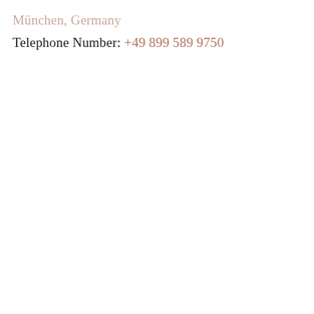München, Germany
Telephone Number: +49 899 589 9750